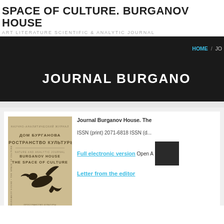SPACE OF CULTURE. BURGANOV HOUSE
ART LITERATURE SCIENTIFIC & ANALYTIC JOURNAL
HOME / JO...
JOURNAL BURGANO...
[Figure (illustration): Journal cover showing a bird in flight against a beige/khaki background, with Russian and English text: ДОМ БУРГАНОВА ПРОСТРАНСТВО КУЛЬТУРЫ / BURGANOV HOUSE THE SPACE OF CULTURE]
Journal Burganov House. The...
ISSN (print) 2071-6818 ISSN (d...
Full electronic version Open A...
Letter from the editor